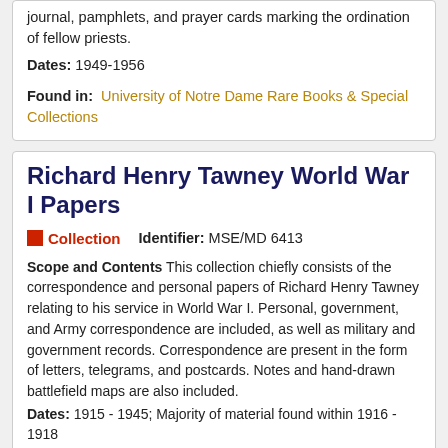journal, pamphlets, and prayer cards marking the ordination of fellow priests.
Dates: 1949-1956
Found in:  University of Notre Dame Rare Books & Special Collections
Richard Henry Tawney World War I Papers
Collection   Identifier: MSE/MD 6413
Scope and Contents This collection chiefly consists of the correspondence and personal papers of Richard Henry Tawney relating to his service in World War I. Personal, government, and Army correspondence are included, as well as military and government records. Correspondence are present in the form of letters, telegrams, and postcards. Notes and hand-drawn battlefield maps are also included.
Dates: 1915 - 1945; Majority of material found within 1916 - 1918